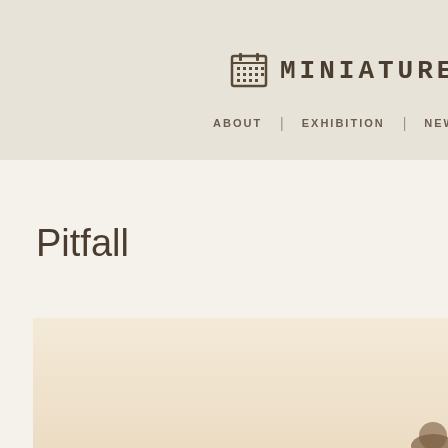MINIATURE (logo with pixel calendar icon)
ABOUT | EXHIBITION | NEWS |
Pitfall
[Figure (photo): Artwork image with warm beige/cream background, partially visible at bottom of page]